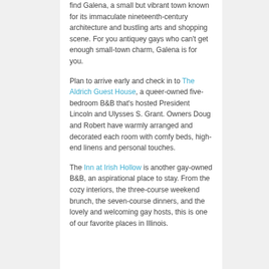find Galena, a small but vibrant town known for its immaculate nineteenth-century architecture and bustling arts and shopping scene. For you antiquey gays who can't get enough small-town charm, Galena is for you.
Plan to arrive early and check in to The Aldrich Guest House, a queer-owned five-bedroom B&B that's hosted President Lincoln and Ulysses S. Grant. Owners Doug and Robert have warmly arranged and decorated each room with comfy beds, high-end linens and personal touches.
The Inn at Irish Hollow is another gay-owned B&B, an aspirational place to stay. From the cozy interiors, the three-course weekend brunch, the seven-course dinners, and the lovely and welcoming gay hosts, this is one of our favorite places in Illinois.